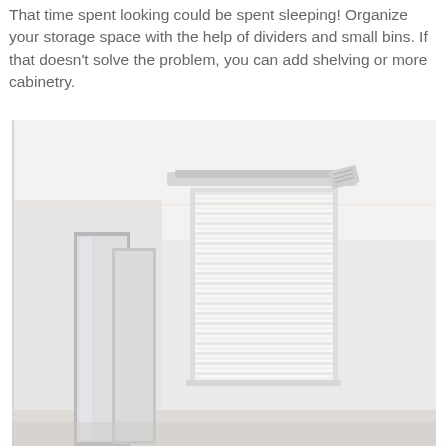That time spent looking could be spent sleeping! Organize your storage space with the help of dividers and small bins. If that doesn't solve the problem, you can add shelving or more cabinetry.
[Figure (photo): Interior photo of a minimalist white room with a window fitted with horizontal white blinds, a mirror leaning against the left wall, and a small air vent visible on the upper right wall. The ceiling and walls are white.]